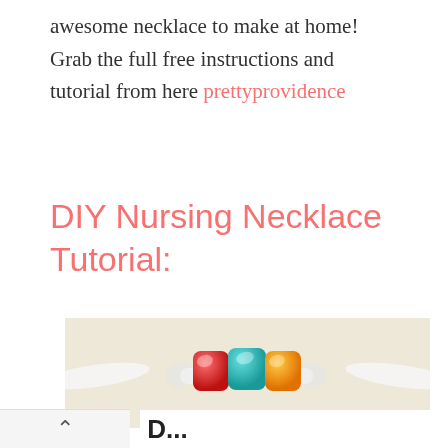awesome necklace to make at home! Grab the full free instructions and tutorial from here prettyprovidence
DIY Nursing Necklace Tutorial:
[Figure (photo): A DIY nursing necklace with three colorful cylindrical beads (red, teal, orange) threaded on a white fabric cord against a beige background]
↑  D...